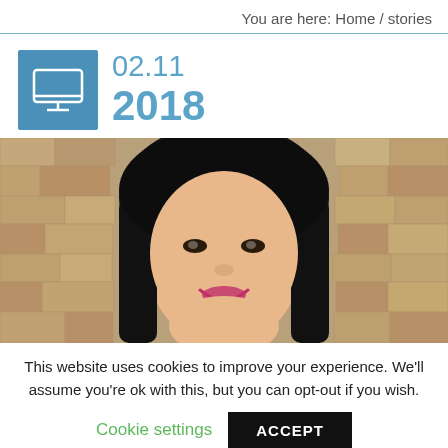You are here: Home / stories
02.11
2018
[Figure (photo): Smiling woman with long black hair in front of a stone brick wall background]
This website uses cookies to improve your experience. We'll assume you're ok with this, but you can opt-out if you wish.
Cookie settings   ACCEPT